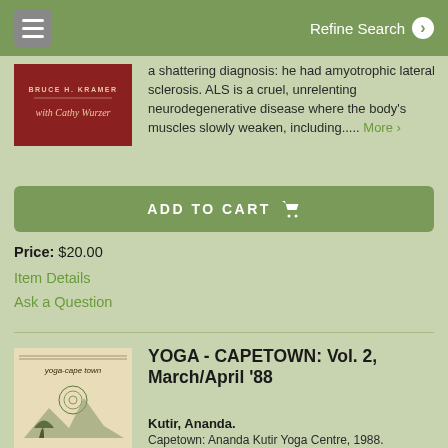Refine Search
a shattering diagnosis: he had amyotrophic lateral sclerosis. ALS is a cruel, unrelenting neurodegenerative disease where the body's muscles slowly weaken, including..... More ›
ADD TO CART
Price: $20.00
Item Details
Ask a Question
YOGA - CAPETOWN: Vol. 2, March/April '88
Kutir, Ananda.
Capetown: Ananda Kutir Yoga Centre, 1988.